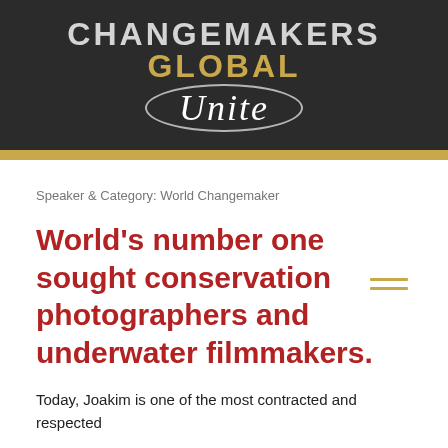[Figure (logo): Changemakers Global Unite logo — dark banner with 'CHANGEMAKERS GLOBAL' in large uppercase letters and 'Unite' in script font inside an oval, with a gold bar beneath]
Speaker & Category: World Changemaker
World's number one sought conservation photographers and underwater filmmakers.
Today, Joakim is one of the most contracted and respected